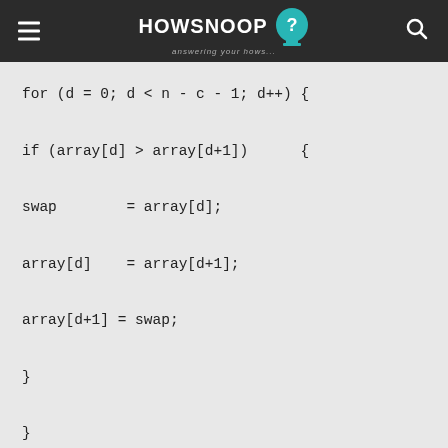HOWSNOOP answering your hows...
for (d = 0; d < n - c - 1; d++) {

if (array[d] > array[d+1])      {

swap        = array[d];

array[d]    = array[d+1];

array[d+1] = swap;

}

}

}